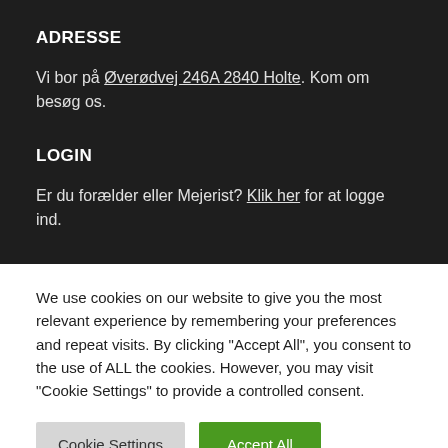ADRESSE
Vi bor på Øverødvej 246A 2840 Holte. Kom om besøg os.
LOGIN
Er du forælder eller Mejerist? Klik her for at logge ind.
We use cookies on our website to give you the most relevant experience by remembering your preferences and repeat visits. By clicking "Accept All", you consent to the use of ALL the cookies. However, you may visit "Cookie Settings" to provide a controlled consent.